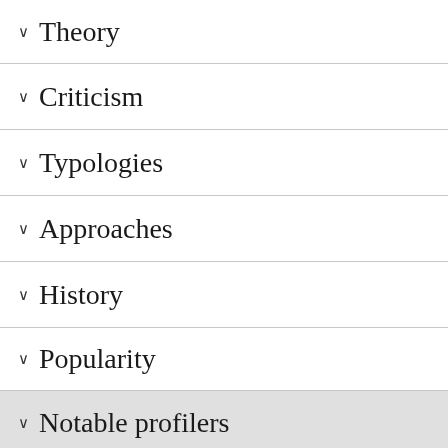Theory
Criticism
Typologies
Approaches
History
Popularity
Notable profilers